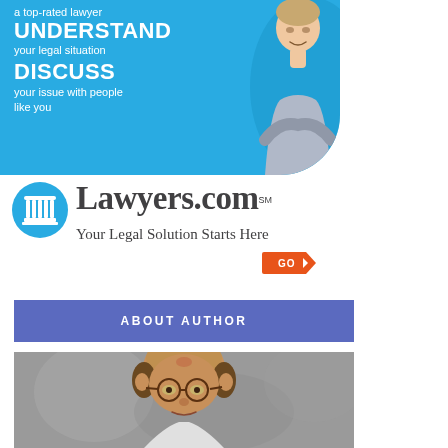[Figure (infographic): Blue banner advertisement with white text: 'a top-rated lawyer', 'UNDERSTAND', 'your legal situation', 'DISCUSS', 'your issue with people like you'. A man in a gray shirt stands with arms crossed on the right side of the banner.]
[Figure (logo): Lawyers.com logo with blue circle containing a white pillar/column icon, followed by 'Lawyers.com' in dark serif font with SM superscript. Below reads 'Your Legal Solution Starts Here' with an orange arrow-shaped GO button.]
ABOUT AUTHOR
[Figure (photo): Headshot photo of a middle-aged balding man wearing round glasses, against a gray background.]